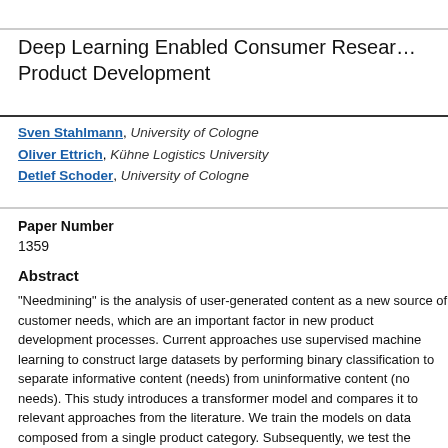Deep Learning Enabled Consumer Research and Product Development
Sven Stahlmann, University of Cologne
Oliver Ettrich, Kühne Logistics University
Detlef Schoder, University of Cologne
Paper Number
1359
Abstract
"Needmining" is the analysis of user-generated content as a new source of customer needs, which are an important factor in new product development processes. Current approaches use supervised machine learning to construct large datasets by performing binary classification to separate informative content (needs) from uninformative content (no needs). This study introduces a transformer model and compares it to relevant approaches from the literature. We train the models on data composed from a single product category. Subsequently, we test the models' ability to detect needs in a validation set containing product categories not present in the training set, i.e. "out-of-category" prediction. Our cross-validated results suggest that, based on the transformer model, out-of-category generalization is possible and that the